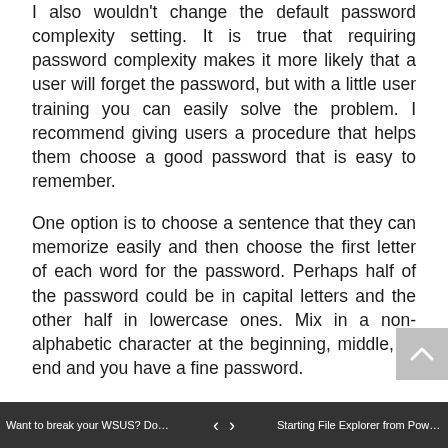I also wouldn't change the default password complexity setting. It is true that requiring password complexity makes it more likely that a user will forget the password, but with a little user training you can easily solve the problem. I recommend giving users a procedure that helps them choose a good password that is easy to remember.
One option is to choose a sentence that they can memorize easily and then choose the first letter of each word for the password. Perhaps half of the password could be in capital letters and the other half in lowercase ones. Mix in a non-alphabetic character at the beginning, middle, or end and you have a fine password.
Many security experts recommend setting a random password (such as in the paper mentioned above). This advice typically comes
Want to break your WSUS? Don't i...    < >    Starting File Explorer from PowerS...